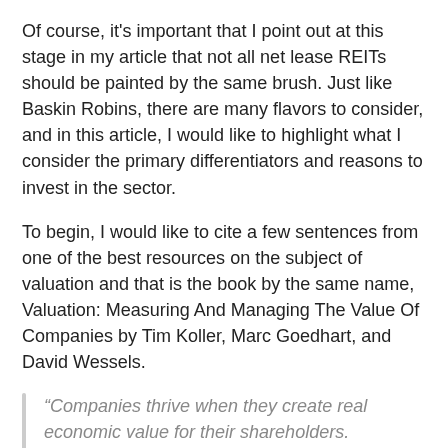Of course, it's important that I point out at this stage in my article that not all net lease REITs should be painted by the same brush. Just like Baskin Robins, there are many flavors to consider, and in this article, I would like to highlight what I consider the primary differentiators and reasons to invest in the sector.
To begin, I would like to cite a few sentences from one of the best resources on the subject of valuation and that is the book by the same name, Valuation: Measuring And Managing The Value Of Companies by Tim Koller, Marc Goedhart, and David Wessels.
“Companies thrive when they create real economic value for their shareholders. Companies create value by investing capital at rates of return that exceed their cost of capital.”
The key words are as follows.